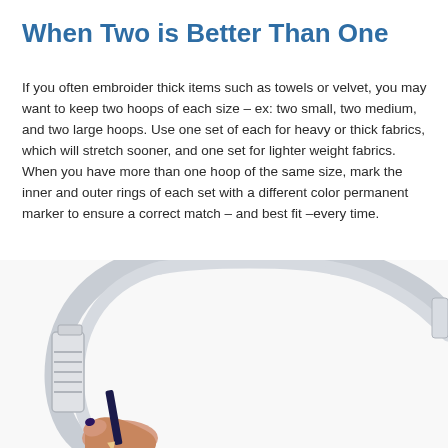When Two is Better Than One
If you often embroider thick items such as towels or velvet, you may want to keep two hoops of each size – ex: two small, two medium, and two large hoops. Use one set of each for heavy or thick fabrics, which will stretch sooner, and one set for lighter weight fabrics. When you have more than one hoop of the same size, mark the inner and outer rings of each set with a different color permanent marker to ensure a correct match – and best fit –every time.
[Figure (photo): Close-up photo of embroidery hoops from above, showing the inner and outer rings of a light gray/silver hoop with a screw adjustment mechanism on the left side, and a hand holding a dark pencil/marker at the bottom left.]